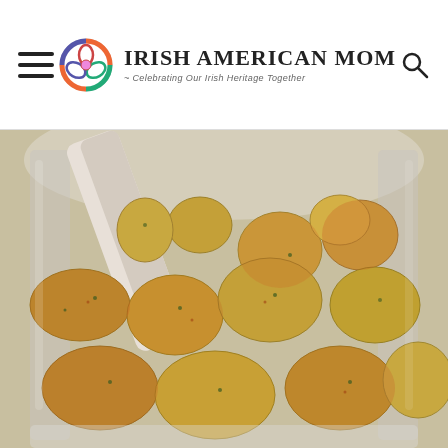Irish American Mom - Celebrating Our Irish Heritage Together
[Figure (photo): Close-up photo of baby potatoes seasoned with spices in a glass bowl, being stirred with a spatula. The potatoes are coated with reddish-orange spice mix and herbs.]